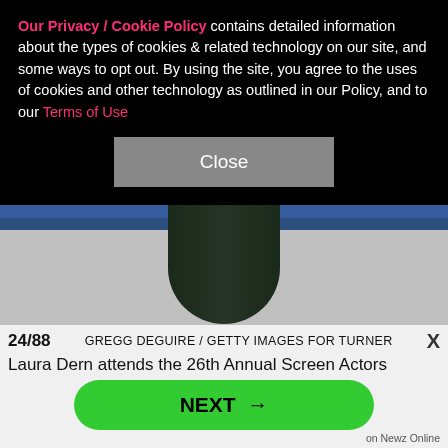[Figure (photo): A dark cylindrical column/pole against a blue background wall with grey carpet floor area — appears to be part of an event venue or corridor.]
Our Privacy / Cookie Policy contains detailed information about the types of cookies & related technology on our site, and some ways to opt out. By using the site, you agree to the uses of cookies and other technology as outlined in our Policy, and to our Terms of Use
Close
24/88
GREGG DEGUIRE / GETTY IMAGES FOR TURNER
X
Laura Dern attends the 26th Annual Screen Actors
NEXT →
on Newz Online